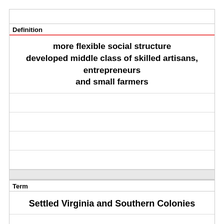| Definition |
| --- |
| more flexible social structure
developed middle class of skilled artisans, entrepreneurs and small farmers |
|  |
|  |
|  |
|  |
| Term |
| --- |
| Settled Virginia and Southern Colonies |
|  |
|  |
|  |